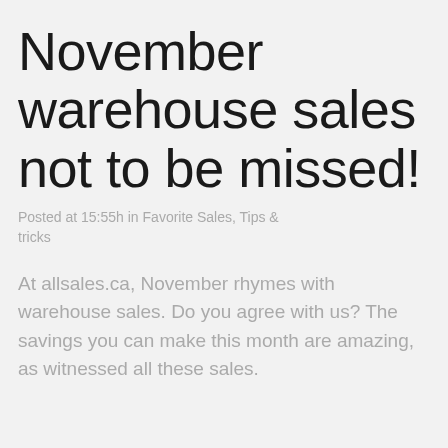November warehouse sales not to be missed!
Posted at 15:55h in Favorite Sales, Tips & tricks
At allsales.ca, November rhymes with warehouse sales. Do you agree with us? The savings you can make this month are amazing, as witnessed all these sales.